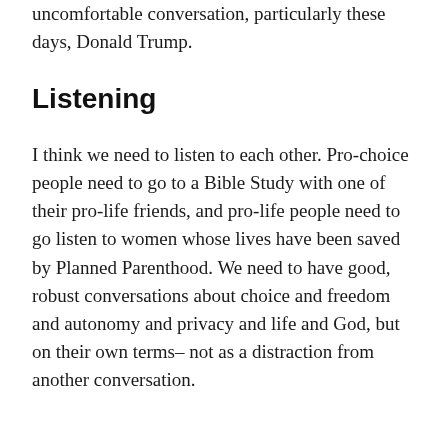uncomfortable conversation, particularly these days, Donald Trump.
Listening
I think we need to listen to each other. Pro-choice people need to go to a Bible Study with one of their pro-life friends, and pro-life people need to go listen to women whose lives have been saved by Planned Parenthood. We need to have good, robust conversations about choice and freedom and autonomy and privacy and life and God, but on their own terms– not as a distraction from another conversation.